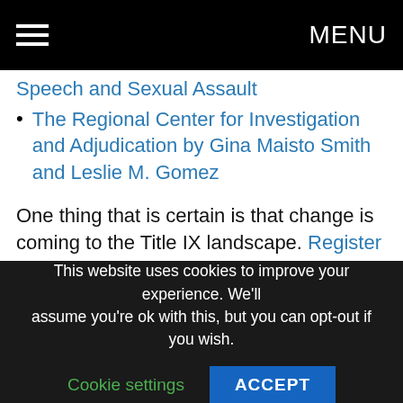MENU
Speech and Sexual Assault
The Regional Center for Investigation and Adjudication by Gina Maisto Smith and Leslie M. Gomez
One thing that is certain is that change is coming to the Title IX landscape. Register today for the ICS First Report webinar on Monday, September 11th at 1:00 EST that will address the implications of today’s speech. ICS also hosted a webinar on managing
This website uses cookies to improve your experience. We’ll assume you’re ok with this, but you can opt-out if you wish. Cookie settings ACCEPT